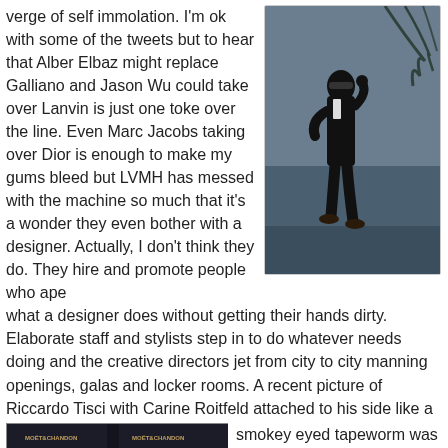verge of self immolation. I'm ok with some of the tweets but to hear that Alber Elbaz might replace Galliano and Jason Wu could take over Lanvin is just one toke over the line. Even Marc Jacobs taking over Dior is enough to make my gums bleed but LVMH has messed with the machine so much that it's a wonder they even bother with a designer. Actually, I don't think they do. They hire and promote people who ape what a designer does without getting their hands dirty. Elaborate staff and stylists step in to do whatever needs doing and the creative directors jet from city to city manning openings, galas and locker rooms. A recent picture of Riccardo Tisci with Carine Roitfeld attached to his side like a smokey eyed tapeworm was a veritable poster for the new age of fashion: a wildly acclaimed design poseur with his walking talking parasite;
[Figure (photo): A man in a dark suit standing outdoors on a beach or waterside, wearing sunglasses, photographed from a distance]
[Figure (photo): Two people posing at a Givenchy / Moet & Chandon event, with branded signage visible in the background]